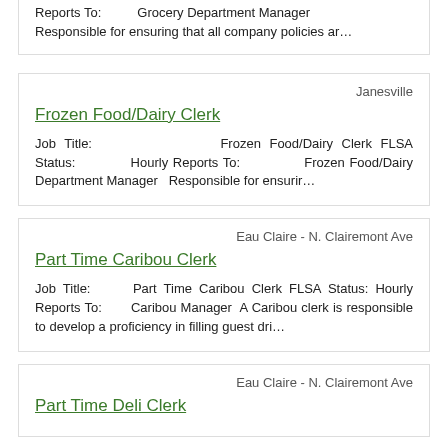Reports To:   Grocery Department Manager Responsible for ensuring that all company policies ar…
Janesville
Frozen Food/Dairy Clerk
Job Title:   Frozen Food/Dairy Clerk FLSA Status:   Hourly Reports To:   Frozen Food/Dairy Department Manager   Responsible for ensurir…
Eau Claire - N. Clairemont Ave
Part Time Caribou Clerk
Job Title:   Part Time Caribou Clerk FLSA Status: Hourly Reports To:   Caribou Manager  A Caribou clerk is responsible to develop a proficiency in filling guest dri…
Eau Claire - N. Clairemont Ave
Part Time Deli Clerk